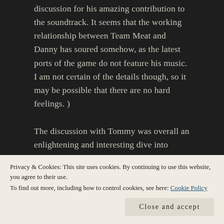discussion for his amazing contribution to the soundtrack. It seems that the working relationship between Team Meat and Danny has soured somehow, as the latest ports of the game do not feature his music. I am not certain of the details though, so it may be possible that there are no hard feelings. )
The discussion with Tommy was overall an enlightening and interesting dive into Super Meat Boy. It was often technical in a way which I don't think I had seen before, naturally because we were at a conference for programmers. (Not to say that there weren't non-programmers that attended.) A lot of
some of how it was implemented.
Privacy & Cookies: This site uses cookies. By continuing to use this website, you agree to their use.
To find out more, including how to control cookies, see here: Cookie Policy